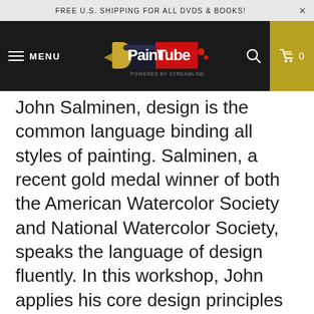FREE U.S. SHIPPING FOR ALL DVDS & BOOKS!
[Figure (logo): PaintTube logo with paint tube graphic, 'Powered by Streamline' tagline]
John Salminen, design is the common language binding all styles of painting. Salminen, a recent gold medal winner of both the American Watercolor Society and National Watercolor Society, speaks the language of design fluently. In this workshop, John applies his core design principles to a complex, layered abstraction. You'll learn to create interesting shapes, capitalize on the strengths of watercolor and keep your painting intriguing and unpredictable. also discover composition and problem- g strategies that apply to all media.